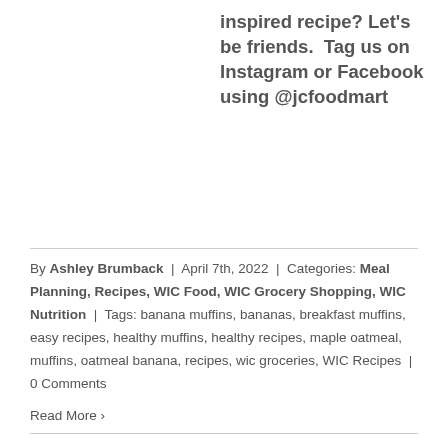inspired recipe? Let's be friends.  Tag us on Instagram or Facebook using @jcfoodmart
By Ashley Brumback | April 7th, 2022 | Categories: Meal Planning, Recipes, WIC Food, WIC Grocery Shopping, WIC Nutrition | Tags: banana muffins, bananas, breakfast muffins, easy recipes, healthy muffins, healthy recipes, maple oatmeal, muffins, oatmeal banana, recipes, wic groceries, WIC Recipes | 0 Comments
Read More >